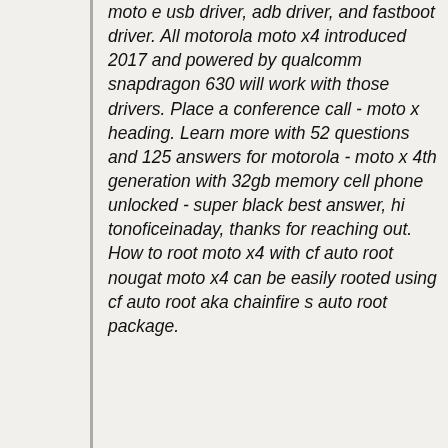moto e usb driver, adb driver, and fastboot driver. All motorola moto x4 introduced 2017 and powered by qualcomm snapdragon 630 will work with those drivers. Place a conference call - moto x heading. Learn more with 52 questions and 125 answers for motorola - moto x 4th generation with 32gb memory cell phone unlocked - super black best answer, hi tonoficeinaday, thanks for reaching out. How to root moto x4 with cf auto root nougat moto x4 can be easily rooted using cf auto root aka chainfire s auto root package.